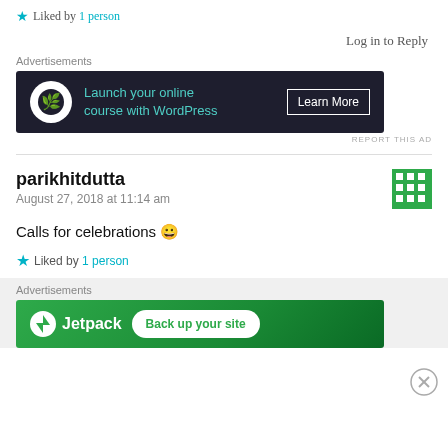★ Liked by 1 person
Log in to Reply
Advertisements
[Figure (screenshot): Dark advertisement banner: bonsai tree icon, text 'Launch your online course with WordPress', Learn More button]
REPORT THIS AD
parikhitdutta
August 27, 2018 at 11:14 am
[Figure (illustration): Green and white checkerboard avatar for user parikhitdutta]
Calls for celebrations 😀
★ Liked by 1 person
Advertisements
[Figure (screenshot): Green Jetpack advertisement banner with Back up your site button]